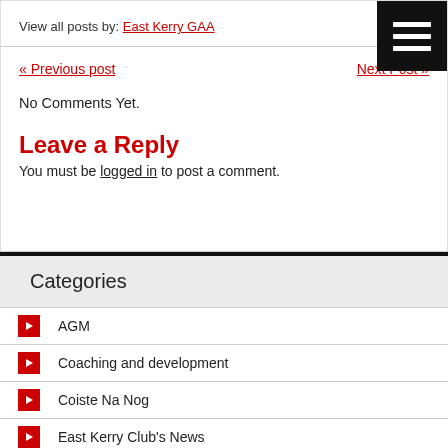View all posts by: East Kerry GAA
« Previous post     Next Post »
No Comments Yet.
Leave a Reply
You must be logged in to post a comment.
Categories
AGM
Coaching and development
Coiste Na Nog
East Kerry Club's News